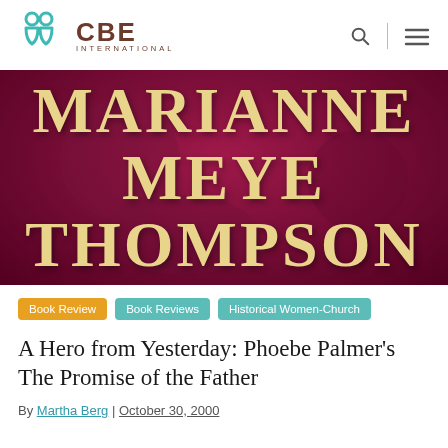CBE INTERNATIONAL
[Figure (illustration): Book cover or author name display with 'MARIANNE MEYE THOMPSON' in large gold serif letters on a dark magenta/maroon background]
Book Review
Book Reviews
Historical Women-Church
A Hero from Yesterday: Phoebe Palmer's The Promise of the Father
By Martha Berg | October 30, 2000